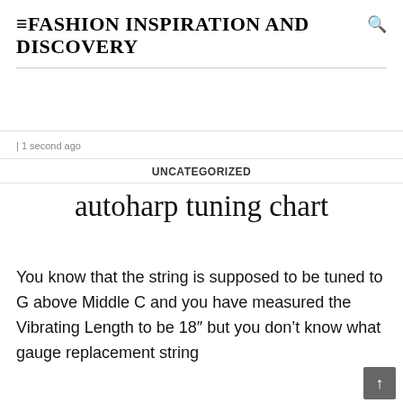≡FASHION INSPIRATION AND DISCOVERY
| 1 second ago
UNCATEGORIZED
autoharp tuning chart
You know that the string is supposed to be tuned to G above Middle C and you have measured the Vibrating Length to be 18″ but you don't know what gauge replacement string to use. The generally affects to the the…